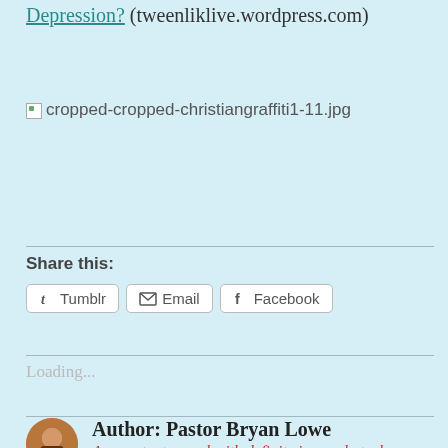Depression? (tweenliklive.wordpress.com)
[Figure (other): Broken image placeholder showing filename: cropped-cropped-christiangraffiti1-11.jpg]
Share this:
Tumblr  Email  Facebook
Loading...
Author: Pastor Bryan Lowe
A repentant rascal with definite issues, but who